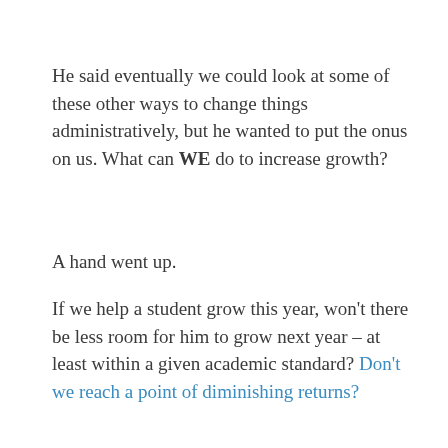He said eventually we could look at some of these other ways to change things administratively, but he wanted to put the onus on us. What can WE do to increase growth?
A hand went up.
If we help a student grow this year, won't there be less room for him to grow next year – at least within a given academic standard? Don't we reach a point of diminishing returns?